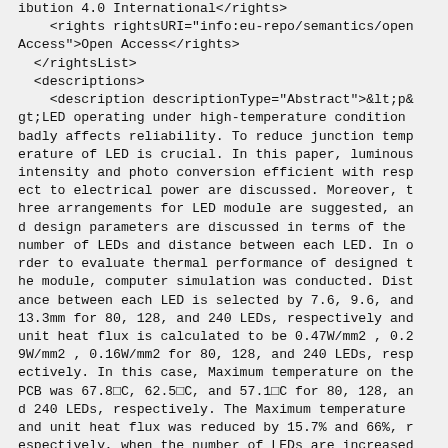ibution 4.0 International</rights>
    <rights rightsURI="info:eu-repo/semantics/open Access">Open Access</rights>
  </rightsList>
  <descriptions>
    <description descriptionType="Abstract">&lt;p&gt;LED operating under high-temperature condition badly affects reliability. To reduce junction temperature of LED is crucial. In this paper, luminous intensity and photo conversion efficient with respect to electrical power are discussed. Moreover, three arrangements for LED module are suggested, and design parameters are discussed in terms of the number of LEDs and distance between each LED. In order to evaluate thermal performance of designed the module, computer simulation was conducted. Distance between each LED is selected by 7.6, 9.6, and 13.3mm for 80, 128, and 240 LEDs, respectively and unit heat flux is calculated to be 0.47W/mm2 , 0.29W/mm2 , 0.16W/mm2 for 80, 128, and 240 LEDs, respectively. In this case, Maximum temperature on the PCB was 67.8°C, 62.5°C, and 57.1°C for 80, 128, and 240 LEDs, respectively. The Maximum temperature and unit heat flux was reduced by 15.7% and 66%, respectively, when the number of LEDs are increased